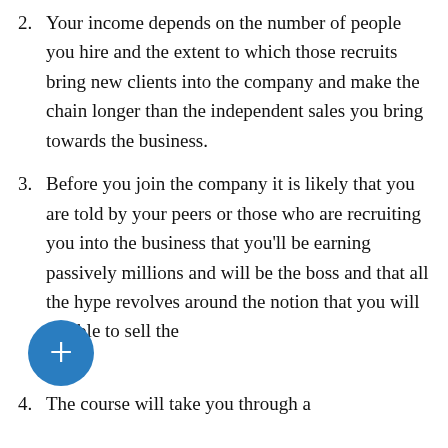2. Your income depends on the number of people you hire and the extent to which those recruits bring new clients into the company and make the chain longer than the independent sales you bring towards the business.
3. Before you join the company it is likely that you are told by your peers or those who are recruiting you into the business that you'll be earning passively millions and will be the boss and that all the hype revolves around the notion that you will be able to sell the [dream].
4. The course will take you through a